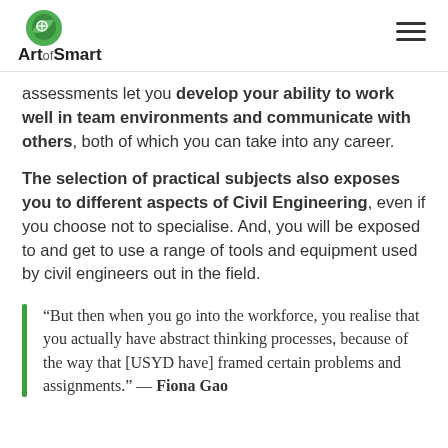Art of Smart
assessments let you develop your ability to work well in team environments and communicate with others, both of which you can take into any career.
The selection of practical subjects also exposes you to different aspects of Civil Engineering, even if you choose not to specialise. And, you will be exposed to and get to use a range of tools and equipment used by civil engineers out in the field.
“But then when you go into the workforce, you realise that you actually have abstract thinking processes, because of the way that [USYD have] framed certain problems and assignments.” — Fiona Gao